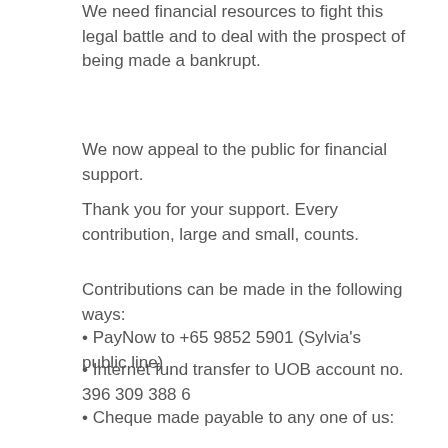We need financial resources to fight this legal battle and to deal with the prospect of being made a bankrupt.
We now appeal to the public for financial support.
Thank you for your support. Every contribution, large and small, counts.
Contributions can be made in the following ways:
PayNow to +65 9852 5901 (Sylvia's public line)
Internet fund transfer to UOB account no. 396 309 388 6
Cheque made payable to any one of us:
Lim Swee Lian Sylvia
Low Thia Khiang